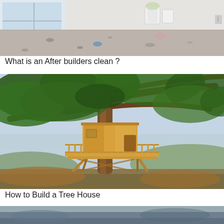[Figure (photo): Interior of an empty room under construction/renovation with debris on the floor and a white bucket in the background]
What is an After builders clean ?
[Figure (photo): A large tree with an elaborate wooden treehouse built on stilts at its base, with a wraparound deck and railing, set against a sky background with hills]
How to Build a Tree House
[Figure (photo): Partial view of a third photo at the bottom of the page]